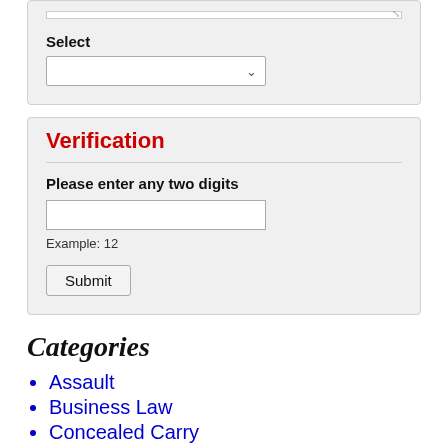Select
Verification
Please enter any two digits
Example: 12
Submit
Categories
Assault
Business Law
Concealed Carry